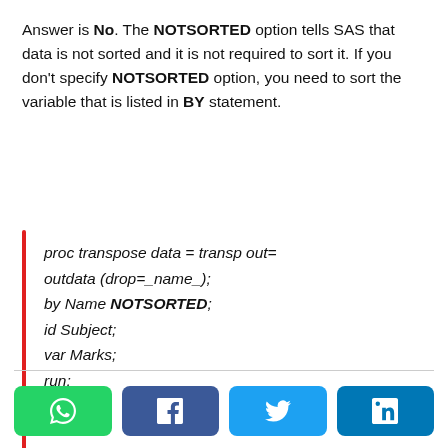Answer is No. The NOTSORTED option tells SAS that data is not sorted and it is not required to sort it. If you don't specify NOTSORTED option, you need to sort the variable that is listed in BY statement.
proc transpose data = transp out=
outdata (drop=_name_);
by Name NOTSORTED;
id Subject;
var Marks;
run;